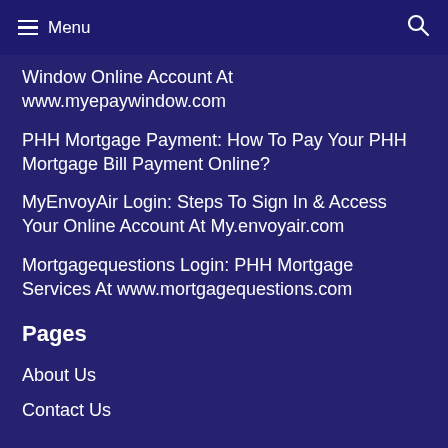Menu
Window Online Account At www.myepaywindow.com
PHH Mortgage Payment: How To Pay Your PHH Mortgage Bill Payment Online?
MyEnvoyAir Login: Steps To Sign In & Access Your Online Account At My.envoyair.com
Mortgagequestions Login: PHH Mortgage Services At www.mortgagequestions.com
Pages
About Us
Contact Us